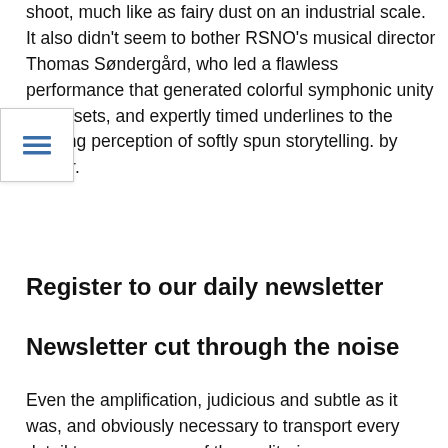shoot, much like as fairy dust on an industrial scale. It also didn't seem to bother RSNO's musical director Thomas Søndergård, who led a flawless performance that generated colorful symphonic unity in the sets, and expertly timed underlines to the calming perception e softly spun storytelling. by Walter.
Register to our daily newsletter
Newsletter cut through the noise
Even the amplification, judicious and subtle as it was, and obviously necessary to transport every detail to every corner of the auditorium, was an acceptable eccentricity. Minor sound dislocations inevitably occurred, such as the strange note of a single horn exploding with undue electric assistance. But the same horn was meltingly sensual in his melodious Nocturne solo.
There wasn't much for vocal soloists Rowan Pierce and Kathryn Rudge to do, but when they contributed, with a reduced chorus of